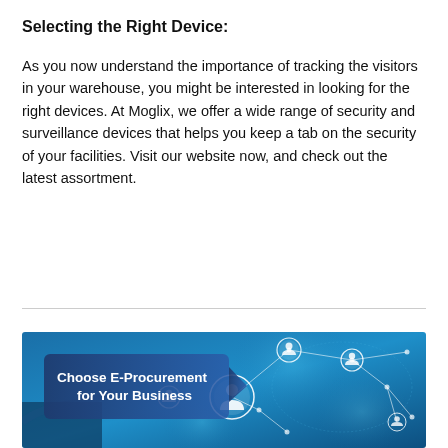Selecting the Right Device:
As you now understand the importance of tracking the visitors in your warehouse, you might be interested in looking for the right devices. At Moglix, we offer a wide range of security and surveillance devices that helps you keep a tab on the security of your facilities. Visit our website now, and check out the latest assortment.
[Figure (illustration): Banner image with blue network/connectivity background showing circular person icons connected by white lines and dots, with a hand holding a device. Text overlay reads 'Choose E-Procurement for Your Business'.]